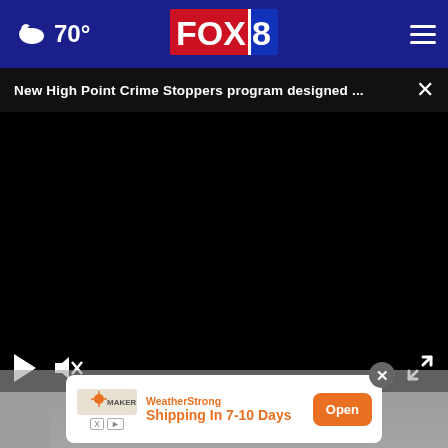70° FOX 8 [navigation menu]
New High Point Crime Stoppers program designed ...
[Figure (screenshot): Video player with black background, play button and mute icon visible at bottom left, fullscreen icon at bottom right]
[Figure (photo): Partial photo of a person appearing to be in thought, gray toned image]
[Figure (infographic): Advertisement overlay: WeatherStrong Shipping In 7-10 Days with orange Open button, X close button and skip controls]